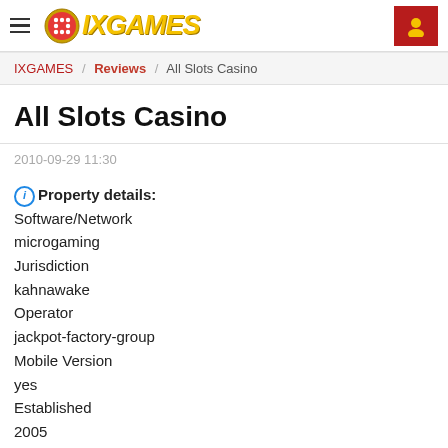IXGAMES — site header with hamburger menu and user icon
IXGAMES / Reviews / All Slots Casino
All Slots Casino
2010-09-29 11:30
Property details: Software/Network microgaming Jurisdiction kahnawake Operator jackpot-factory-group Mobile Version yes Established 2005